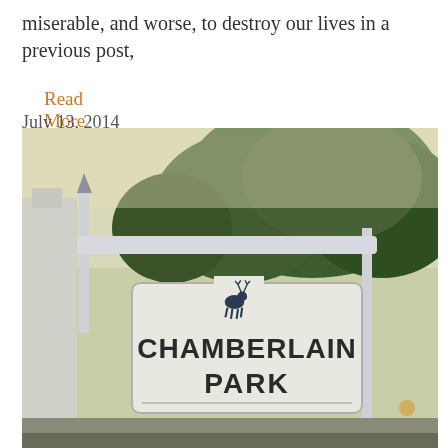miserable, and worse, to destroy our lives in a previous post,
Read More »
July 13, 2014
[Figure (photo): Photo of a white park sign reading 'CHAMBERLAIN PARK' with a deer silhouette at top, mounted on white poles beneath large green trees at dusk/evening. A white building or fence structure is visible on the left.]